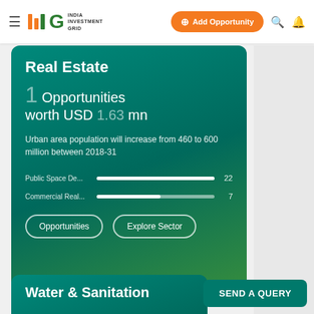IIG India Investment Grid — Add Opportunity
Real Estate
1 Opportunities worth USD 1.63 mn
Urban area population will increase from 460 to 600 million between 2018-31
Public Space De... 22
Commercial Real... 7
Opportunities | Explore Sector
Water & Sanitation
SEND A QUERY